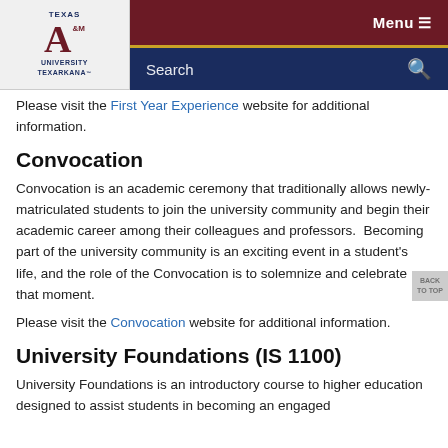[Figure (logo): Texas A&M University Texarkana logo with maroon A&M mark and navy blue wordmark]
Menu  Search
Please visit the First Year Experience website for additional information.
Convocation
Convocation is an academic ceremony that traditionally allows newly-matriculated students to join the university community and begin their academic career among their colleagues and professors.  Becoming part of the university community is an exciting event in a student's life, and the role of the Convocation is to solemnize and celebrate that moment.
Please visit the Convocation website for additional information.
University Foundations (IS 1100)
University Foundations is an introductory course to higher education designed to assist students in becoming an engaged